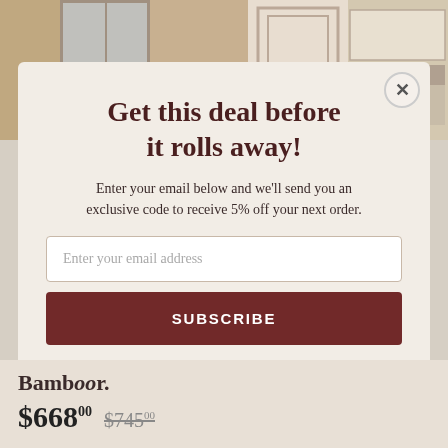[Figure (photo): Background photo of a home interior kitchen/hallway area visible behind modal]
Get this deal before it rolls away!
Enter your email below and we'll send you an exclusive code to receive 5% off your next order.
Enter your email address
SUBSCRIBE
Bamb oor
$668.00 $745.00